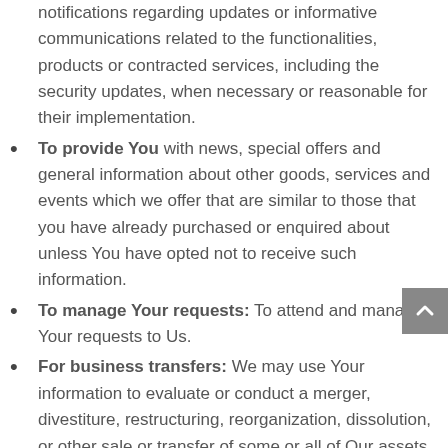notifications regarding updates or informative communications related to the functionalities, products or contracted services, including the security updates, when necessary or reasonable for their implementation.
To provide You with news, special offers and general information about other goods, services and events which we offer that are similar to those that you have already purchased or enquired about unless You have opted not to receive such information.
To manage Your requests: To attend and manage Your requests to Us.
For business transfers: We may use Your information to evaluate or conduct a merger, divestiture, restructuring, reorganization, dissolution, or other sale or transfer of some or all of Our assets, whether as a going concern or as part of bankruptcy, liquidation, or similar proceeding, in which Personal Data held by Us